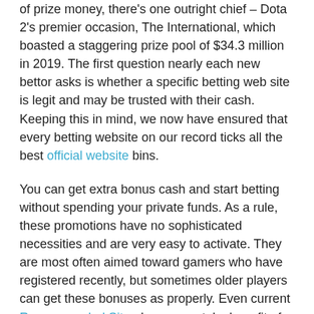of prize money, there's one outright chief – Dota 2's premier occasion, The International, which boasted a staggering prize pool of $34.3 million in 2019. The first question nearly each new bettor asks is whether a specific betting web site is legit and may be trusted with their cash. Keeping this in mind, we now have ensured that every betting website on our record ticks all the best official website bins.
You can get extra bonus cash and start betting without spending your private funds. As a rule, these promotions have no sophisticated necessities and are very easy to activate. They are most often aimed toward gamers who have registered recently, but sometimes older players can get these bonuses as properly. Even current Recommended Site players can take benefit of the deposit bonus. You will obtain extra money if you deposit a particular amount. The phrases and situations of such promotions may differ relying on the application.